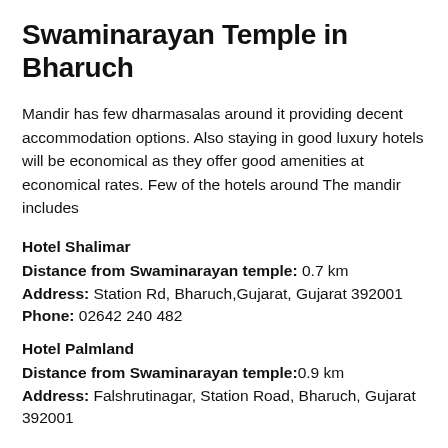Swaminarayan Temple in Bharuch
Mandir has few dharmasalas around it providing decent accommodation options. Also staying in good luxury hotels will be economical as they offer good amenities at economical rates. Few of the hotels around The mandir includes
Hotel Shalimar
Distance from Swaminarayan temple: 0.7 km
Address: Station Rd, Bharuch,Gujarat, Gujarat 392001
Phone: 02642 240 482
Hotel Palmland
Distance from Swaminarayan temple:0.9 km
Address: Falshrutinagar, Station Road, Bharuch, Gujarat 392001